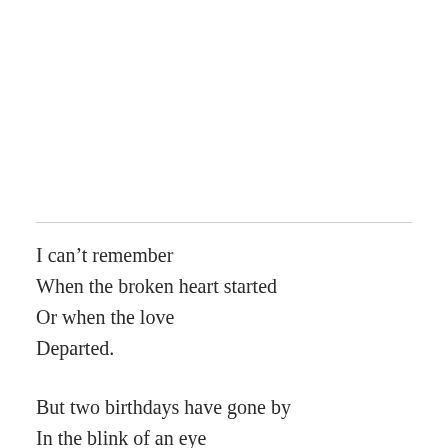I can't remember
When the broken heart started
Or when the love
Departed.

But two birthdays have gone by
In the blink of an eye
With no paid attention